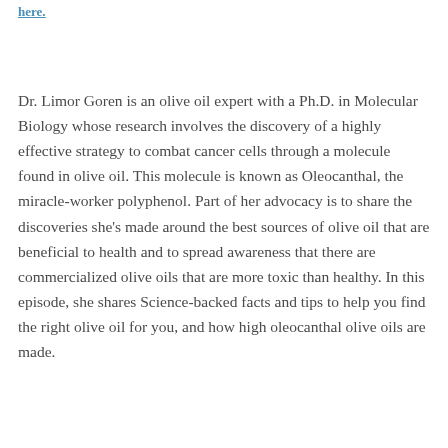here.
Dr. Limor Goren is an olive oil expert with a Ph.D. in Molecular Biology whose research involves the discovery of a highly effective strategy to combat cancer cells through a molecule found in olive oil. This molecule is known as Oleocanthal, the miracle-worker polyphenol. Part of her advocacy is to share the discoveries she's made around the best sources of olive oil that are beneficial to health and to spread awareness that there are commercialized olive oils that are more toxic than healthy. In this episode, she shares Science-backed facts and tips to help you find the right olive oil for you, and how high oleocanthal olive oils are made.